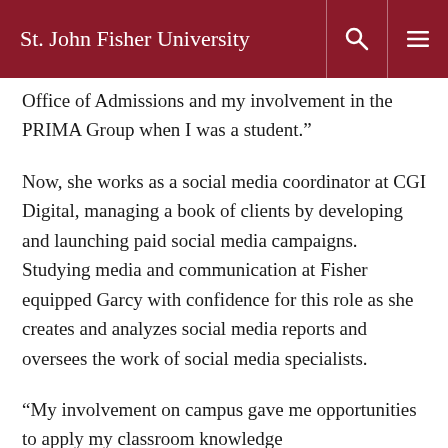St. John Fisher University
Office of Admissions and my involvement in the PRIMA Group when I was a student.”
Now, she works as a social media coordinator at CGI Digital, managing a book of clients by developing and launching paid social media campaigns. Studying media and communication at Fisher equipped Garcy with confidence for this role as she creates and analyzes social media reports and oversees the work of social media specialists.
“My involvement on campus gave me opportunities to apply my classroom knowledge in real-world situations. Some of the things …